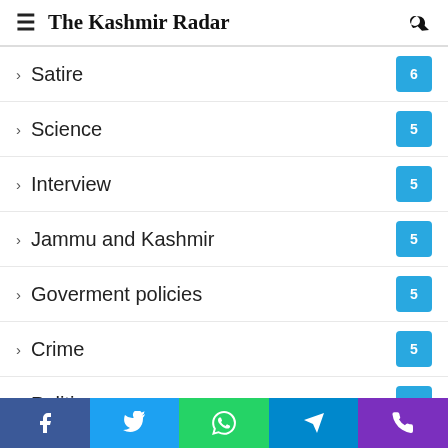The Kashmir Radar
Satire 6
Science 5
Interview 5
Jammu and Kashmir 5
Goverment policies 5
Crime 5
Politics 4
Entertainment 4
Message 4
Top Story 3
Lifestyle
Food